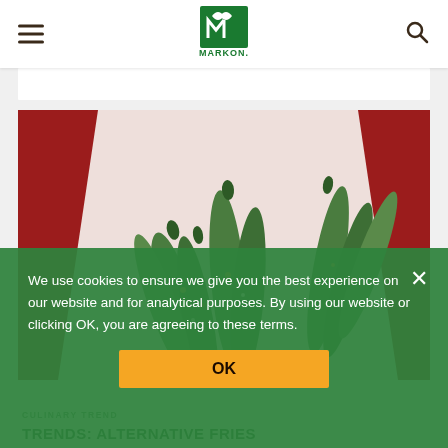[Figure (logo): Markon logo - green plant/leaf icon above the word MARKON in green]
[Figure (photo): Close-up photo of green bean pods (alternative fries) arranged on white parchment paper against a red background, seasoned with spices]
We use cookies to ensure we give you the best experience on our website and for analytical purposes. By using our website or clicking OK, you are agreeing to these terms.
OK
CULINARY TREND
TRENDS: ALTERNATIVE FRIES